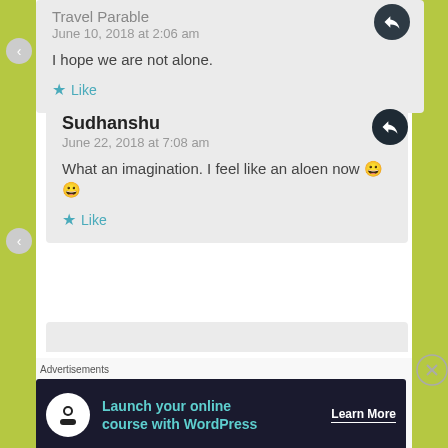Travel Parable
June 10, 2018 at 2:06 am
I hope we are not alone.
Like
Sudhanshu
June 22, 2018 at 7:08 am
What an imagination. I feel like an aloen now 🙂 🙂
Like
Advertisements
Launch your online course with WordPress Learn More